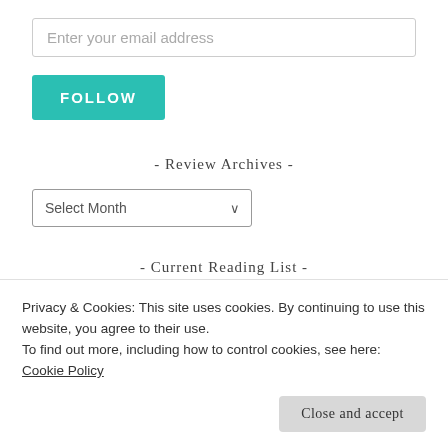Enter your email address
FOLLOW
- Review Archives -
Select Month
- Current Reading List -
Privacy & Cookies: This site uses cookies. By continuing to use this website, you agree to their use. To find out more, including how to control cookies, see here: Cookie Policy
Close and accept
[Figure (photo): Partially visible book cover with text 'DESCEND' on dark background]